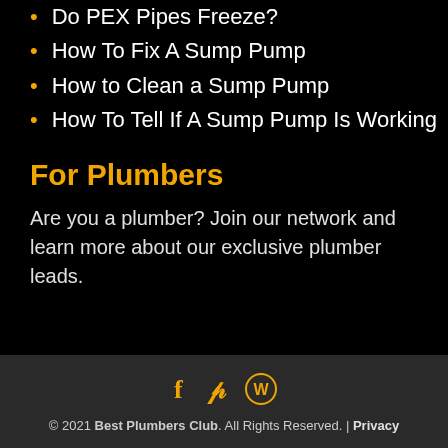Do PEX Pipes Freeze?
How To Fix A Sump Pump
How to Clean a Sump Pump
How To Tell If A Sump Pump Is Working
For Plumbers
Are you a plumber? Join our network and learn more about our exclusive plumber leads.
© 2021 Best Plumbers Club. All Rights Reserved. | Privacy